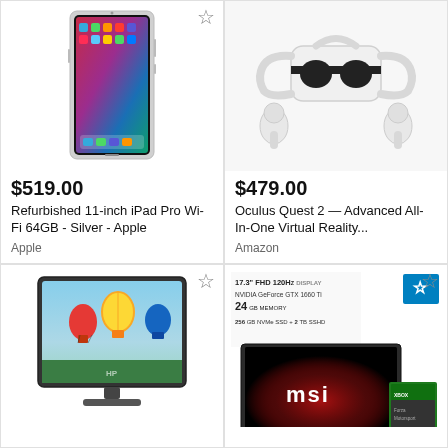[Figure (photo): Refurbished 11-inch iPad Pro in Silver with colorful screen, shown with wishlist star icon]
$519.00
Refurbished 11-inch iPad Pro Wi-Fi 64GB - Silver - Apple
Apple
[Figure (photo): Oculus Quest 2 VR headset with two controllers on white background, wishlist star icon absent]
$479.00
Oculus Quest 2 — Advanced All-In-One Virtual Reality...
Amazon
[Figure (photo): HP all-in-one desktop computer with colorful hot air balloon wallpaper on screen, wishlist star icon]
[Figure (photo): MSI gaming laptop with red MSI dragon logo, spec overlay showing 17.3 inch FHD 120Hz display, NVIDIA GeForce GTX 1660 Ti, 24GB memory, 256GB NVMe SSD + 2TB SSHD, wishlist star icon, Xbox game case]